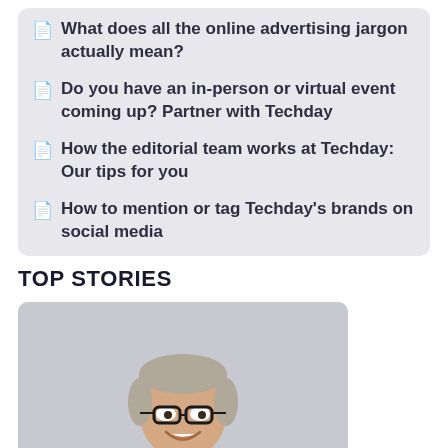What does all the online advertising jargon actually mean?
Do you have an in-person or virtual event coming up? Partner with Techday
How the editorial team works at Techday: Our tips for you
How to mention or tag Techday's brands on social media
TOP STORIES
[Figure (photo): Portrait photo of a smiling middle-aged man with glasses, grey-blonde hair, wearing a dark blue suit jacket, against a light grey background]